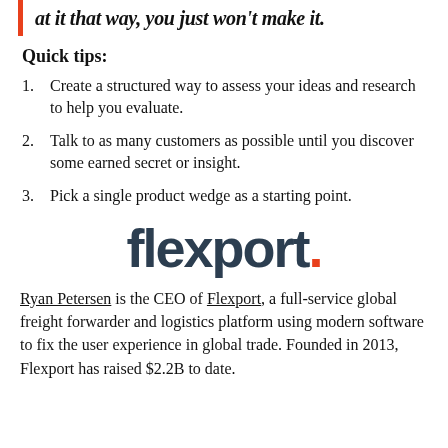at it that way, you just won't make it.
Quick tips:
Create a structured way to assess your ideas and research to help you evaluate.
Talk to as many customers as possible until you discover some earned secret or insight.
Pick a single product wedge as a starting point.
[Figure (logo): Flexport logo — wordmark in dark navy with an orange period at the end]
Ryan Petersen is the CEO of Flexport, a full-service global freight forwarder and logistics platform using modern software to fix the user experience in global trade. Founded in 2013, Flexport has raised $2.2B to date.